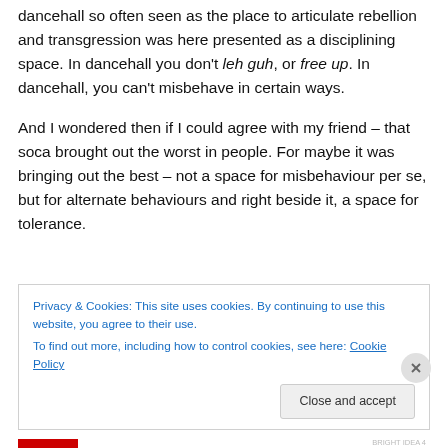dancehall so often seen as the place to articulate rebellion and transgression was here presented as a disciplining space. In dancehall you don't leh guh, or free up. In dancehall, you can't misbehave in certain ways.
And I wondered then if I could agree with my friend – that soca brought out the worst in people. For maybe it was bringing out the best – not a space for misbehaviour per se, but for alternate behaviours and right beside it, a space for tolerance.
Privacy & Cookies: This site uses cookies. By continuing to use this website, you agree to their use.
To find out more, including how to control cookies, see here: Cookie Policy